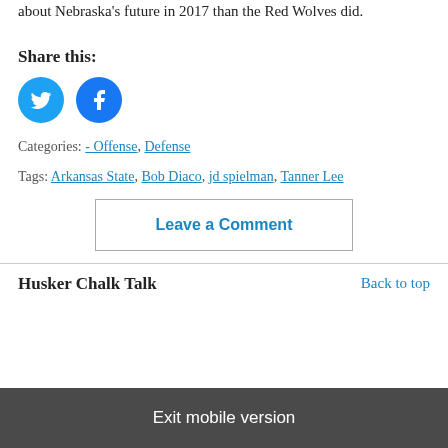about Nebraska's future in 2017 than the Red Wolves did.
Share this:
[Figure (other): Twitter and Facebook share buttons as circular blue icons]
Categories: - Offense, Defense
Tags: Arkansas State, Bob Diaco, jd spielman, Tanner Lee
Leave a Comment
Husker Chalk Talk   Back to top
Exit mobile version